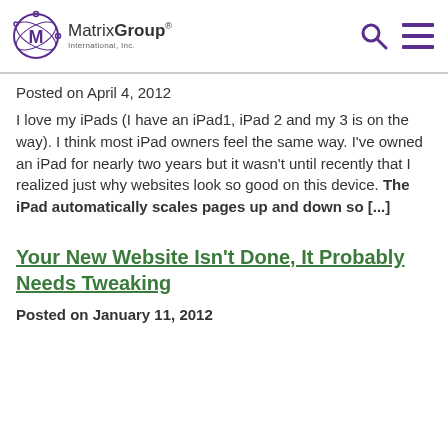MatrixGroup International, Inc.
Posted on April 4, 2012
I love my iPads (I have an iPad1, iPad 2 and my 3 is on the way). I think most iPad owners feel the same way. I've owned an iPad for nearly two years but it wasn't until recently that I realized just why websites look so good on this device. The iPad automatically scales pages up and down so [...]
Your New Website Isn't Done, It Probably Needs Tweaking
Posted on January 11, 2012